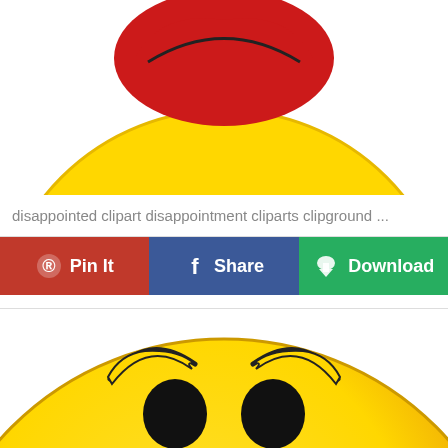[Figure (illustration): Partial view of a disappointed face emoji clipart — yellow round face with sad eyes, shown from the nose up, with a red lip/mouth visible at the very top of the first panel]
disappointed clipart disappointment cliparts clipground ...
[Figure (other): UI button bar with three buttons: Pin It (red, Pinterest icon), Share (blue, Facebook icon), Download (green, download icon)]
[Figure (illustration): Disappointed smiley face emoji clipart — large yellow circle face with downward-cast black oval eyes, yellow banana-shaped drooping eyebrows, sad expression, shown cropped from approximately the mid-face down]